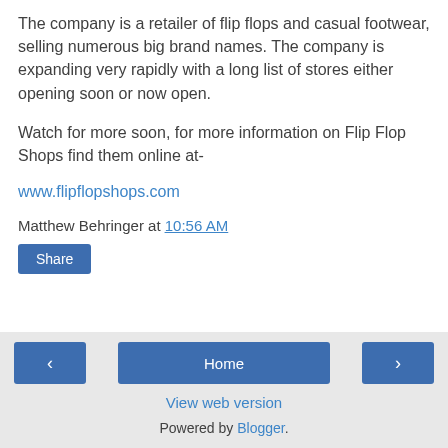The company is a retailer of flip flops and casual footwear, selling numerous big brand names. The company is expanding very rapidly with a long list of stores either opening soon or now open.
Watch for more soon, for more information on Flip Flop Shops find them online at-
www.flipflopshops.com
Matthew Behringer at 10:56 AM
Share
‹  Home  › View web version Powered by Blogger.